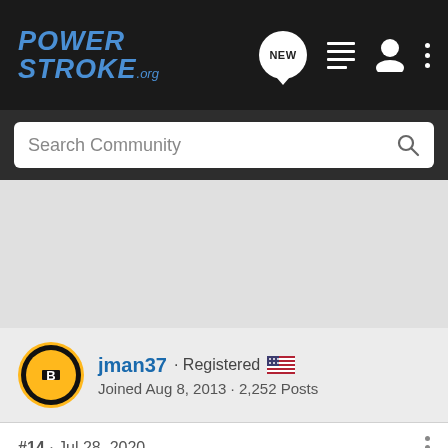PowerStroke.org
Search Community
jman37 · Registered
Joined Aug 8, 2013 · 2,252 Posts
#14 · Jul 28, 2020
That's what it "says." I've found from experience that isn't always the case. So I would plan for at least 100 miles before I